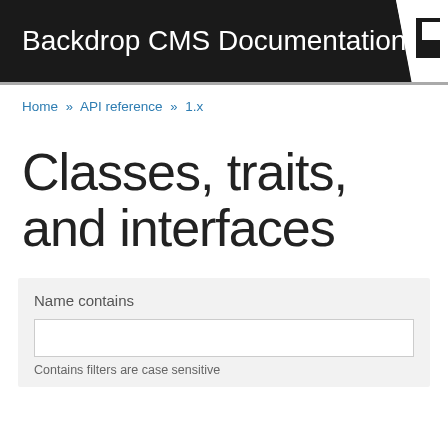Backdrop CMS Documentation
Home » API reference » 1.x
Classes, traits, and interfaces
Name contains
Contains filters are case sensitive